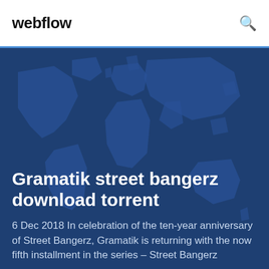webflow
[Figure (illustration): World map silhouette in dark blue/teal tones used as hero background]
Gramatik street bangerz download torrent
6 Dec 2018 In celebration of the ten-year anniversary of Street Bangerz, Gramatik is returning with the now fifth installment in the series – Street Bangerz